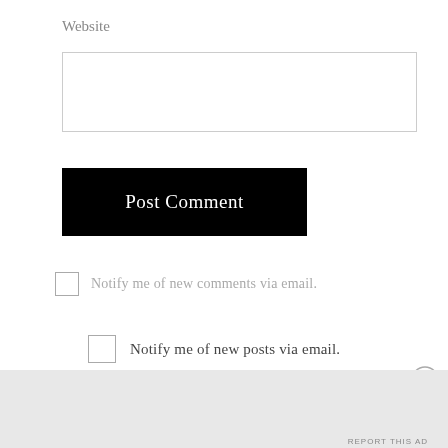Website
Post Comment
Notify me of new comments via email.
Notify me of new posts via email.
Advertisements
Professionally designed sites in less than a week